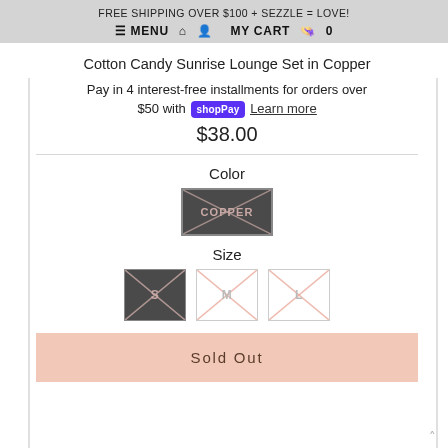FREE SHIPPING OVER $100 + SEZZLE = LOVE!
≡ MENU  🏠  👤  MY CART  🛍  0
Cotton Candy Sunrise Lounge Set in Copper
Pay in 4 interest-free installments for orders over $50 with shopPay Learn more
$38.00
Color
[Figure (other): Color swatch: COPPER (dark grey with cross/X through it)]
Size
[Figure (other): Size swatches: S (dark, crossed out), M (light, crossed out), L (light, crossed out)]
Sold Out